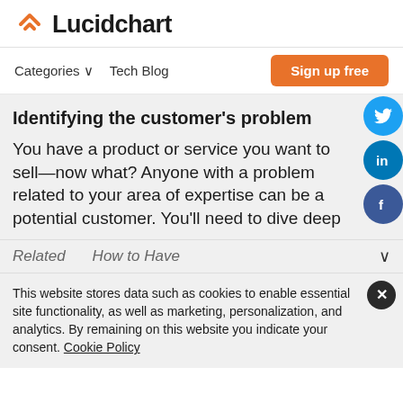Lucidchart
Identifying the customer's problem
You have a product or service you want to sell—now what? Anyone with a problem related to your area of expertise can be a potential customer. You'll need to dive deep
Related   How to Have
This website stores data such as cookies to enable essential site functionality, as well as marketing, personalization, and analytics. By remaining on this website you indicate your consent. Cookie Policy